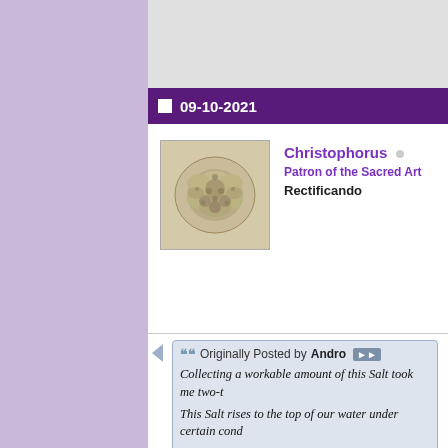09-10-2021
[Figure (photo): Avatar image of a beige/cream colored rose or flower-like salt crystal formation]
Christophorus ○
Patron of the Sacred Art
Rectificando
Originally Posted by Andro
Collecting a workable amount of this Salt took me two-t...
This Salt rises to the top of our water under certain cond...
For more quantity of this Salt, one simply uses more vess... which are easy, handy and cheap to obtain for everyone.
Ali Puli (among others) is quite explicit about the requir... ridiculously simple process, which basically occurs with...
I believe Christophorus mentioned the appearance of su... experiments. I believe he's doing something very right 🙂